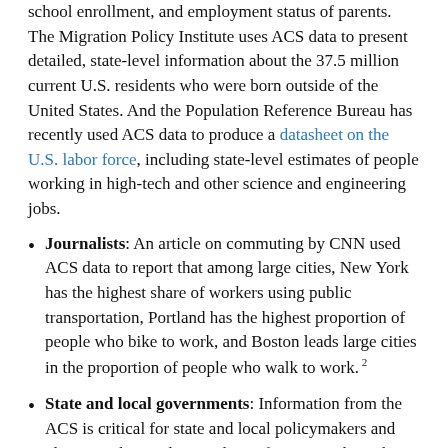school enrollment, and employment status of parents. The Migration Policy Institute uses ACS data to present detailed, state-level information about the 37.5 million current U.S. residents who were born outside of the United States. And the Population Reference Bureau has recently used ACS data to produce a datasheet on the U.S. labor force, including state-level estimates of people working in high-tech and other science and engineering jobs.
Journalists: An article on commuting by CNN used ACS data to report that among large cities, New York has the highest share of workers using public transportation, Portland has the highest proportion of people who bike to work, and Boston leads large cities in the proportion of people who walk to work. 2
State and local governments: Information from the ACS is critical for state and local policymakers and planners who need up-to-date information about their communities to evaluate the need for new roads, hospitals, schools, senior centers, and other basic